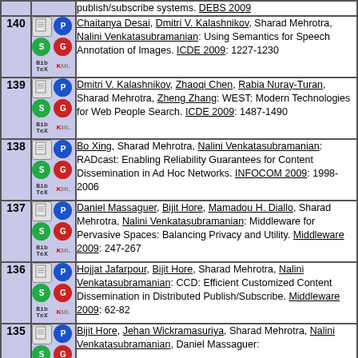| # | Icons | Reference |
| --- | --- | --- |
|  |  | publish/subscribe systems. DEBS 2009 |
| 140 |  | Chaitanya Desai, Dmitri V. Kalashnikov, Sharad Mehrotra, Nalini Venkatasubramanian: Using Semantics for Speech Annotation of Images. ICDE 2009: 1227-1230 |
| 139 |  | Dmitri V. Kalashnikov, Zhaoqi Chen, Rabia Nuray-Turan, Sharad Mehrotra, Zheng Zhang: WEST: Modern Technologies for Web People Search. ICDE 2009: 1487-1490 |
| 138 |  | Bo Xing, Sharad Mehrotra, Nalini Venkatasubramanian: RADcast: Enabling Reliability Guarantees for Content Dissemination in Ad Hoc Networks. INFOCOM 2009: 1998-2006 |
| 137 |  | Daniel Massaguer, Bijit Hore, Mamadou H. Diallo, Sharad Mehrotra, Nalini Venkatasubramanian: Middleware for Pervasive Spaces: Balancing Privacy and Utility. Middleware 2009: 247-267 |
| 136 |  | Hojjat Jafarpour, Bijit Hore, Sharad Mehrotra, Nalini Venkatasubramanian: CCD: Efficient Customized Content Dissemination in Distributed Publish/Subscribe. Middleware 2009: 62-82 |
| 135 |  | Bijit Hore, Jehan Wickramasuriya, Sharad Mehrotra, Nalini Venkatasubramanian, Daniel Massaguer: |